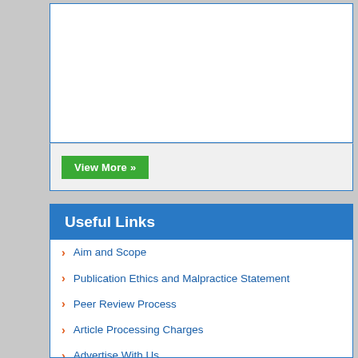[Figure (other): White rectangular box with blue border, content area (top portion of a web panel, content not visible)]
View More »
Useful Links
Aim and Scope
Publication Ethics and Malpractice Statement
Peer Review Process
Article Processing Charges
Advertise With Us
Benefits of Publishing
Indexing and Archiving
NIH Funded Work